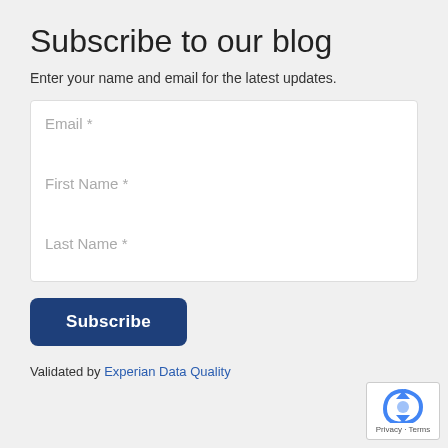Subscribe to our blog
Enter your name and email for the latest updates.
Email *
First Name *
Last Name *
Subscribe
Validated by Experian Data Quality
[Figure (logo): Google reCAPTCHA badge with arrow/refresh icon and Privacy - Terms links]